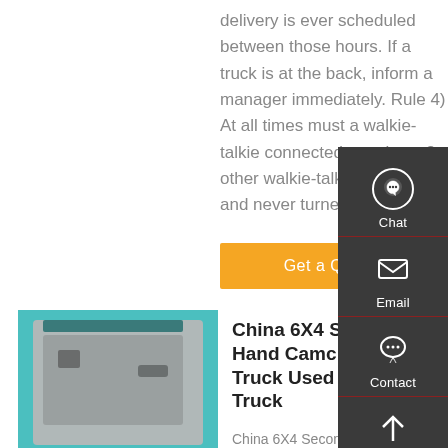delivery is ever scheduled between those hours. If a truck is at the back, inform a manager immediately. Rule 4) At all times must a walkie-talkie connected to at least 3 other walkie-talkies be worn, and never turned off.
Get a Quote
[Figure (other): Sidebar with Chat, Email, Contact, and Top navigation icons on dark grey background]
[Figure (photo): Interior door panel of a teal/green Chinese dump truck cab]
China 6X4 Second Hand Camc Dump Truck Used Tipper Truck
China 6X4 Second Hand Camc